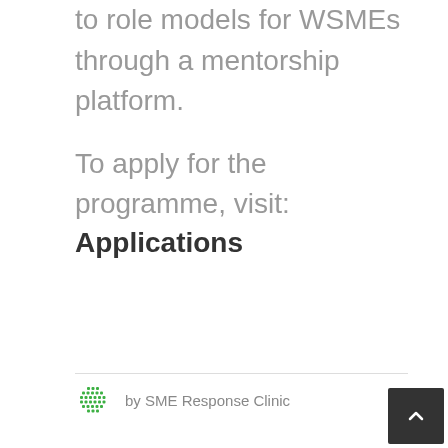to role models for WSMEs through a mentorship platform.
To apply for the programme, visit:
Applications
by SME Response Clinic